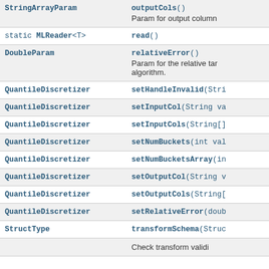| Return Type | Method / Description |
| --- | --- |
| StringArrayParam | outputCols()
Param for output column |
| static MLReader<T> | read() |
| DoubleParam | relativeError()
Param for the relative tar algorithm. |
| QuantileDiscretizer | setHandleInvalid(Stri |
| QuantileDiscretizer | setInputCol(String va |
| QuantileDiscretizer | setInputCols(String[] |
| QuantileDiscretizer | setNumBuckets(int val |
| QuantileDiscretizer | setNumBucketsArray(in |
| QuantileDiscretizer | setOutputCol(String v |
| QuantileDiscretizer | setOutputCols(String[ |
| QuantileDiscretizer | setRelativeError(doub |
| StructType | transformSchema(Struc |
|  | Check transform validi |